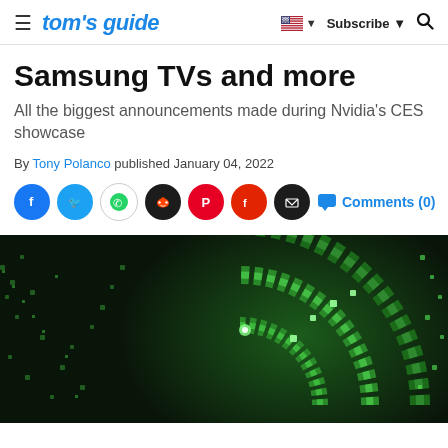tom's guide | Subscribe | Search
Samsung TVs and more
All the biggest announcements made during Nvidia's CES showcase
By Tony Polanco published January 04, 2022
[Figure (infographic): Social sharing icons row: Facebook, Twitter, WhatsApp, Reddit, Pinterest, Flipboard, Email, and Comments (0) button]
[Figure (photo): Dark background with glowing green circuit-board or geometric pattern forming concentric arcs, resembling a Nvidia logo or tech design]